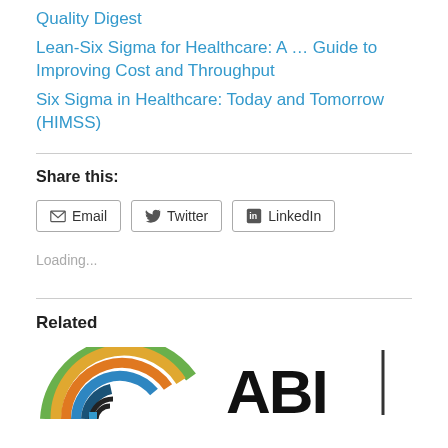Quality Digest
Lean-Six Sigma for Healthcare: A … Guide to Improving Cost and Throughput
Six Sigma in Healthcare: Today and Tomorrow (HIMSS)
Share this:
Email  Twitter  LinkedIn
Loading...
Related
[Figure (logo): Colorful arc/rainbow logo (partial) on the left; bold 'ABI' text with vertical bar logo on the right]